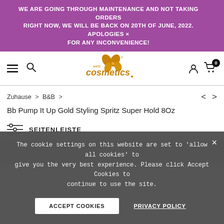WE ARE GOING THROUGH MAINTENANCE AND NOT TAKING ORDERS RIGHT NOW, WE WILL BE BACK ON 20TH OF JUNE, 2022. APOLOGIES FOR ANY INCONVENIENCE!
[Figure (logo): Web Cosmetics logo with orange butterfly/leaf motif and stylized text]
Zuhause > B&B >
Bb Pump It Up Gold Styling Spritz Super Hold 8Oz
SEITENLEISTE
The cookie settings on this website are set to 'allow all cookies' to give you the very best experience. Please click Accept Cookies to continue to use the site.
ACCEPT COOKIES
PRIVACY POLICY